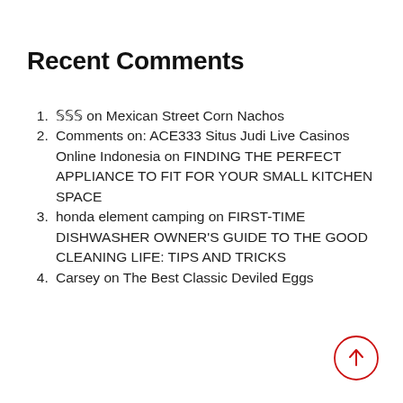Recent Comments
𝕊𝕊𝕊 on Mexican Street Corn Nachos
Comments on: ACE333 Situs Judi Live Casinos Online Indonesia on FINDING THE PERFECT APPLIANCE TO FIT FOR YOUR SMALL KITCHEN SPACE
honda element camping on FIRST-TIME DISHWASHER OWNER'S GUIDE TO THE GOOD CLEANING LIFE: TIPS AND TRICKS
Carsey on The Best Classic Deviled Eggs